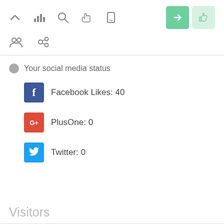[Figure (screenshot): Toolbar row 1 with icons: up arrow, bar chart, search/magnifier, hand/cursor, mobile phone, then two green buttons (send/arrow and thumbs up)]
[Figure (screenshot): Toolbar row 2 with icons: group/users and chain/link icons]
Your social media status
Facebook Likes: 40
PlusOne: 0
Twitter: 0
Visitors